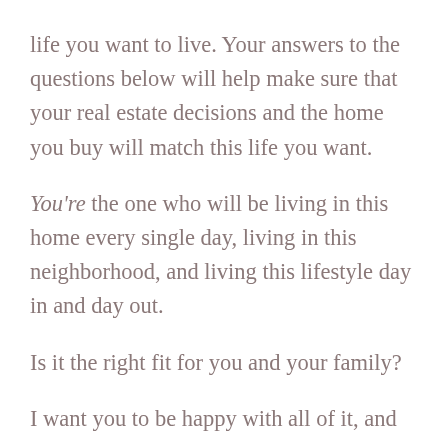life you want to live. Your answers to the questions below will help make sure that your real estate decisions and the home you buy will match this life you want.
You're the one who will be living in this home every single day, living in this neighborhood, and living this lifestyle day in and day out.
Is it the right fit for you and your family?
I want you to be happy with all of it, and